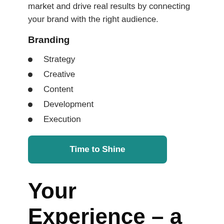market and drive real results by connecting your brand with the right audience.
Branding
Strategy
Creative
Content
Development
Execution
Time to Shine
Your Experience – a la carte